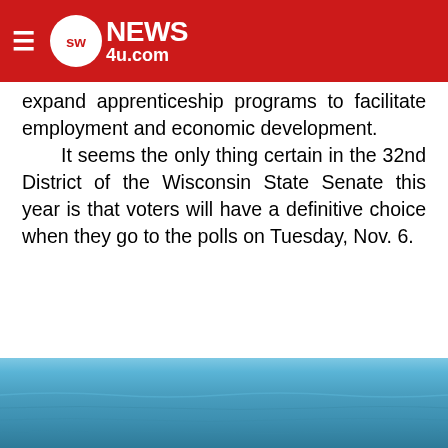SWNews4u.com
expand apprenticeship programs to facilitate employment and economic development.
   It seems the only thing certain in the 32nd District of the Wisconsin State Senate this year is that voters will have a definitive choice when they go to the polls on Tuesday, Nov. 6.
[Figure (photo): Blue water/lake scene at the bottom of the page]